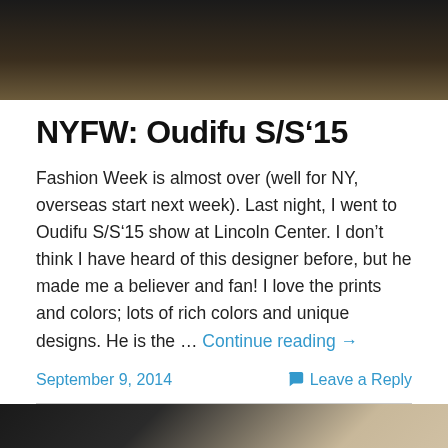[Figure (photo): Dark photograph, gradient from black to dark brown]
NYFW: Oudifu S/S’15
Fashion Week is almost over (well for NY, overseas start next week). Last night, I went to Oudifu S/S’15 show at Lincoln Center. I don’t think I have heard of this designer before, but he made me a believer and fan! I love the prints and colors; lots of rich colors and unique designs. He is the … Continue reading →
September 9, 2014    Leave a Reply
[Figure (photo): Dark photograph with partial text overlay showing 'katualRO' or similar logo text]